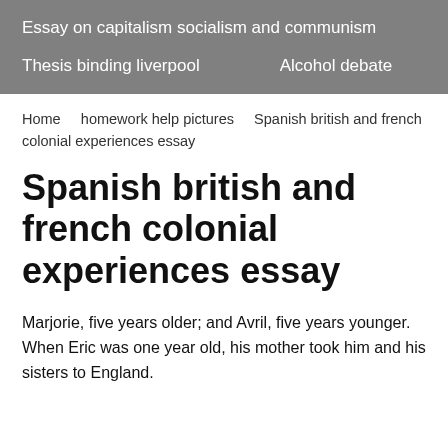Essay on capitalism socialism and communism
Thesis binding liverpool    Alcohol debate
Home    homework help pictures    Spanish british and french colonial experiences essay
Spanish british and french colonial experiences essay
Marjorie, five years older; and Avril, five years younger. When Eric was one year old, his mother took him and his sisters to England.